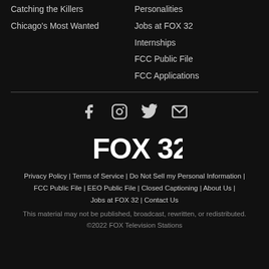Catching the Killers
Chicago's Most Wanted
Personalities
Jobs at FOX 32
Internships
FCC Public File
FCC Applications
[Figure (infographic): Social media icons: Facebook, Instagram, Twitter, Email]
[Figure (logo): FOX 32 logo in white bold text]
Privacy Policy | Terms of Service | Do Not Sell my Personal Information | FCC Public File | EEO Public File | Closed Captioning | About Us | Jobs at FOX 32 | Contact Us
This material may not be published, broadcast, rewritten, or redistributed. ©2022 FOX Television Stations